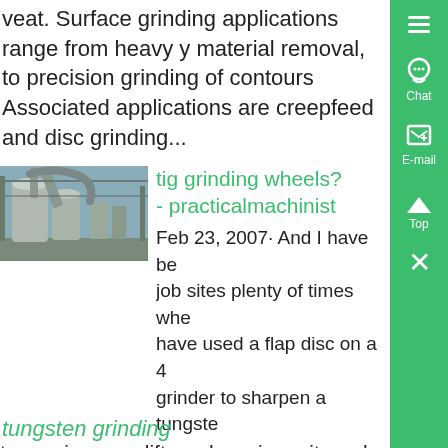veat. Surface grinding applications range from heavy material removal, to precision grinding of contours Associated applications are creepfeed and disc grinding...
[Figure (photo): Industrial facility interior with large cylindrical equipment and ventilation ductwork]
tig grinding wheels? - practicalmachinist
Feb 23, 2007· And I have been on job sites plenty of times where I have used a flap disc on a 4 grinder to sharpen a tungsten up in a manlift, or down in a pit- and it SUCKS but it works, sorta But for the type of work I do, especially ornamental stainless where the weld must look perfect sharpening with a flap disc is not up to my standards.
tungsten grinding